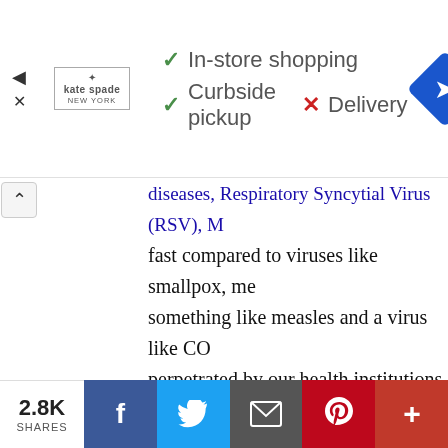[Figure (screenshot): Kate Spade ad banner showing In-store shopping (green checkmark), Curbside pickup (green checkmark), Delivery (red X), and a blue navigation diamond icon]
fast compared to viruses like smallpox, me something like measles and a virus like CO perpetrated by our health institutions. Bea
All viruses survive by creating copies of the copies" — mutations — produced by the c these mutations stack up so quickly that th new strains. Variants are normal. Variants a build the impenetrable wall of long-lasting viruses out of existence. That's one of seve
2.8K SHARES  f  Twitter  Email  Pinterest  +